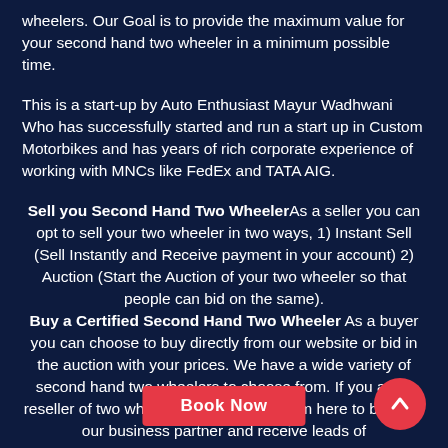wheelers. Our Goal is to provide the maximum value for your second hand two wheeler in a minimum possible time.
This is a start-up by Auto Enthusiast Mayur Wadhwani Who has successfully started and run a start up in Custom Motorbikes and has years of rich corporate experience of working with MNCs like FedEx and TATA AIG.
Sell you Second Hand Two WheelerAs a seller you can opt to sell your two wheeler in two ways, 1) Instant Sell (Sell Instantly and Receive payment in your account) 2) Auction (Start the Auction of your two wheeler so that people can bid on the same). Buy a Certified Second Hand Two Wheeler As a buyer you can choose to buy directly from our website or bid in the auction with your prices. We have a wide variety of second hand two wheelers to choose from. If you are a reseller of two wheelers you can fill a form here to become our business partner and receive leads of
Book Now